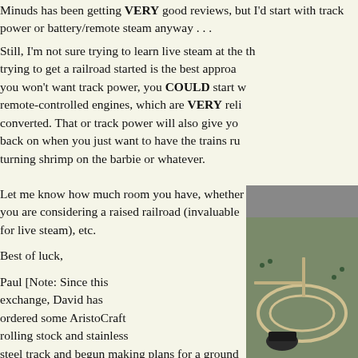Minuds has been getting VERY good reviews, but I'd start with track power or battery/remote steam anyway . . .
Still, I'm not sure trying to learn live steam at the same time as trying to get a railroad started is the best approach. Since you won't want track power, you COULD start with battery/remote-controlled engines, which are VERY reliable, until you get converted. That or track power will also give you something to fall back on when you just want to have the trains run while you're turning shrimp on the barbie or whatever.
Let me know how much room you have, whether you are considering a raised railroad (invaluable for live steam), etc.
[Figure (photo): David's Indoor E - aerial photo of a model railroad layout indoor showing tracks and scenery]
Best of luck,
Paul [Note: Since this exchange, David has ordered some AristoCraft rolling stock and stainless steel track and begun making plans for a ground-level layout to get things started. He say his wife likes planting things, so that portends great things. He also send me photos of his indo